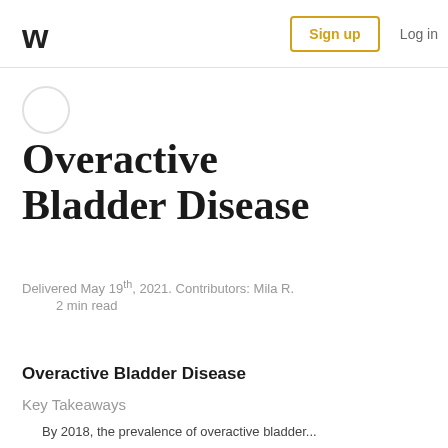W  Sign up  Log in
[Figure (illustration): Circular avatar placeholder icon]
Overactive Bladder Disease
Delivered May 19th, 2021. Contributors: Mila R.
2 min read
Overactive Bladder Disease
Key Takeaways
By 2018, the prevalence of overactive bladder...